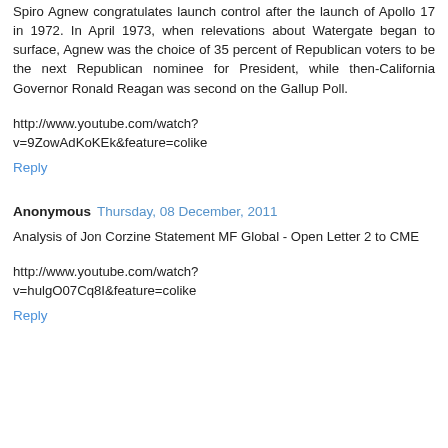Spiro Agnew congratulates launch control after the launch of Apollo 17 in 1972. In April 1973, when relevations about Watergate began to surface, Agnew was the choice of 35 percent of Republican voters to be the next Republican nominee for President, while then-California Governor Ronald Reagan was second on the Gallup Poll.
http://www.youtube.com/watch?v=9ZowAdKoKEk&feature=colike
Reply
Anonymous  Thursday, 08 December, 2011
Analysis of Jon Corzine Statement MF Global - Open Letter 2 to CME
http://www.youtube.com/watch?v=hulgO07Cq8I&feature=colike
Reply